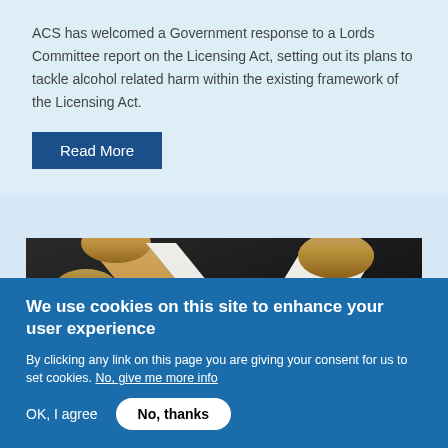ACS has welcomed a Government response to a Lords Committee report on the Licensing Act, setting out its plans to tackle alcohol related harm within the existing framework of the Licensing Act.
Read More
[Figure (photo): Close-up photograph of cigarettes showing tobacco filter tips and white paper tubes]
We use cookies on this site to enhance your user experience
By clicking any link on this page you are giving your consent for us to set cookies. No, give me more info
OK, I agree
No, thanks